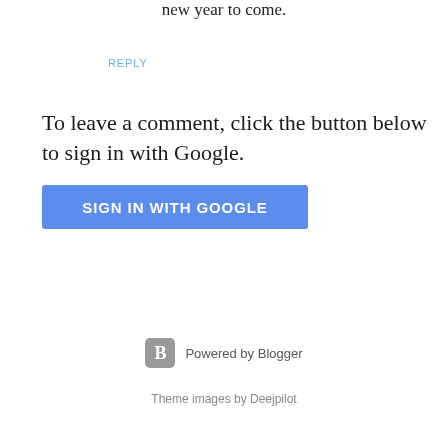new year to come.
REPLY
To leave a comment, click the button below to sign in with Google.
[Figure (other): Blue button with white text reading SIGN IN WITH GOOGLE]
[Figure (logo): Blogger logo icon (letter B on grey rounded square) followed by text: Powered by Blogger]
Theme images by Deejpilot